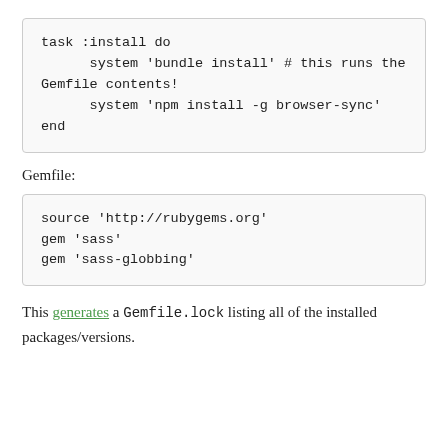[Figure (other): Code block showing a Rake task: task :install do / system 'bundle install' # this runs the Gemfile contents! / system 'npm install -g browser-sync' / end]
Gemfile:
[Figure (other): Code block showing Gemfile contents: source 'http://rubygems.org' / gem 'sass' / gem 'sass-globbing']
This generates a Gemfile.lock listing all of the installed packages/versions.